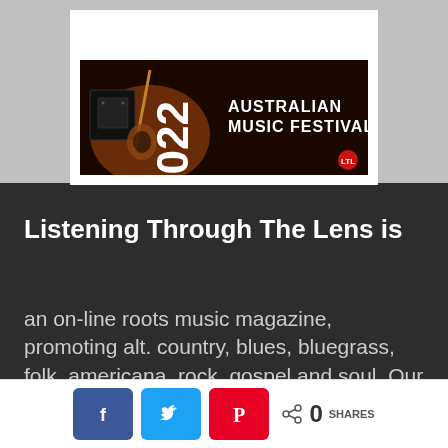[Figure (illustration): Banner image for '2022 Australian Music Festivals' with dark background, guitar image on the left, and bold text on the right]
Listening Through The Lens is
an on-line roots music magazine, promoting alt. country, blues, bluegrass, folk, americana, rock, gospel and soul. Our contributors review
[Figure (infographic): Social share bar with Facebook, Twitter, Pinterest buttons and share count showing 0 SHARES]